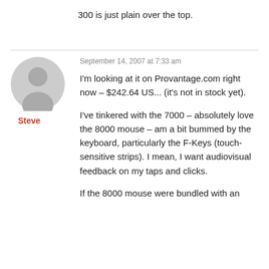300 is just plain over the top.
September 14, 2007 at 7:33 am
[Figure (illustration): Generic user avatar: grey circle with grey person silhouette]
Steve
I'm looking at it on Provantage.com right now – $242.64 US... (it's not in stock yet).
I've tinkered with the 7000 – absolutely love the 8000 mouse – am a bit bummed by the keyboard, particularly the F-Keys (touch-sensitive strips). I mean, I want audiovisual feedback on my taps and clicks.
If the 8000 mouse were bundled with an